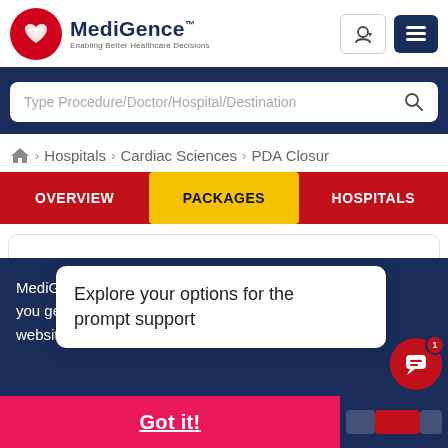[Figure (logo): MediGence logo with red circle heart icon and text 'MediGence — Enabling Better Healthcare Decisions']
Type Procedure/Doctor/Hospital/Destination
⌂ > Hospitals > Cardiac Sciences > PDA Closur
OVERVIEW    PACKAGES    HOSPITALS
MediGence.com uses cookies to ensure you get the best experience on our website. Vi...
Explore your options for the prompt support
Got it!